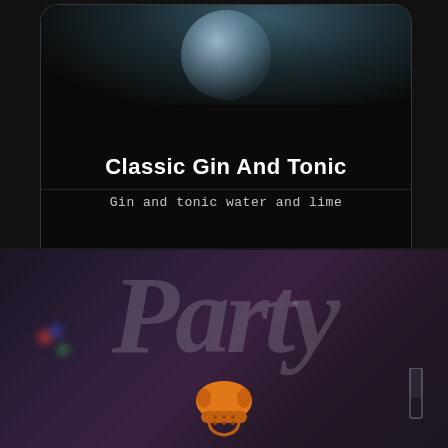[Figure (photo): Top section showing a dark card UI element with a cocktail drink image at the top, title 'Classic Gin And Tonic' and subtitle 'Gin and tonic water and lime' on a dark background]
Classic Gin And Tonic
Gin and tonic water and lime
[Figure (photo): Bottom section showing a dark purple/blue party scene background with large stylized 'Party' script text overlay, colorful bokeh lights on the left, a glass on the right, and an orange telephone icon in the center bottom]